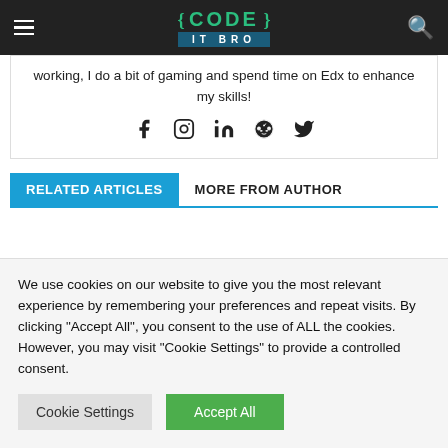{ CODE } IT BRO
working, I do a bit of gaming and spend time on Edx to enhance my skills!
[Figure (infographic): Social media icons: Facebook, Instagram, LinkedIn, Reddit, Twitter]
RELATED ARTICLES   MORE FROM AUTHOR
We use cookies on our website to give you the most relevant experience by remembering your preferences and repeat visits. By clicking "Accept All", you consent to the use of ALL the cookies. However, you may visit "Cookie Settings" to provide a controlled consent.
Cookie Settings   Accept All